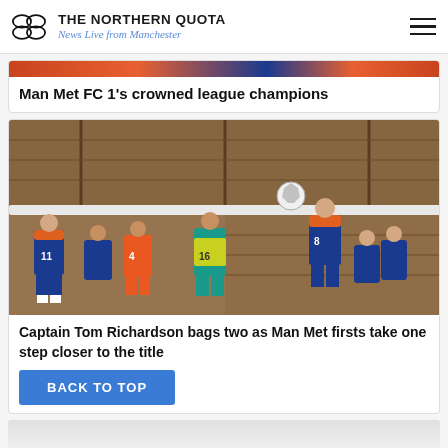THE NORTHERN QUOTA — News Live from Manchester
Man Met FC 1's crowned league champions
[Figure (photo): Football match photo showing players in blue and orange kits competing at a goalmouth, with player number 11 on left, player number 4 center-left, player number 16 in teal, and player number 8 heading the ball on the right with a goalkeeper net behind]
Captain Tom Richardson bags two as Man Met firsts take one step closer to the title